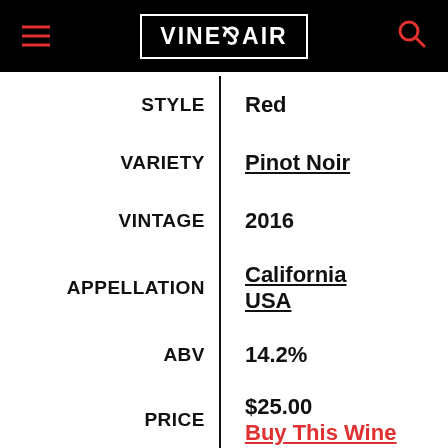VINEPAIR
| Label | Value |
| --- | --- |
| STYLE | Red |
| VARIETY | Pinot Noir |
| VINTAGE | 2016 |
| APPELLATION | California USA |
| ABV | 14.2% |
| PRICE | $25.00 / Buy This Wine |